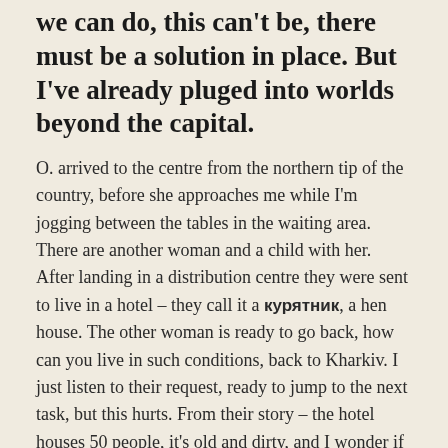we can do, this can't be, there must be a solution in place. But I've already pluged into worlds beyond the capital.
O. arrived to the centre from the northern tip of the country, before she approaches me while I'm jogging between the tables in the waiting area. There are another woman and a child with her. After landing in a distribution centre they were sent to live in a hotel – they call it a курятник, a hen house. The other woman is ready to go back, how can you live in such conditions, back to Kharkiv. I just listen to their request, ready to jump to the next task, but this hurts. From their story – the hotel houses 50 people, it's old and dirty, and I wonder if it was closed cause of the pandemic or other reasons. 2 floors, people sleeping on the first floor which isn't made for that, one toilet (besides some in the rooms, that don't fit all?), two cooktops, two fridges and a kitchen sink for all. Imagine the